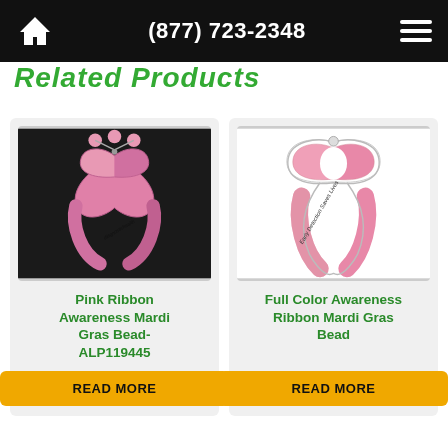(877) 723-2348
Related Products
[Figure (photo): Pink ribbon awareness Mardi Gras bead necklace with pink beads on dark background]
Pink Ribbon Awareness Mardi Gras Bead- ALP119445
READ MORE
[Figure (photo): Full color awareness ribbon pin/badge on white background with text Early Detection Saves Lives]
Full Color Awareness Ribbon Mardi Gras Bead
READ MORE